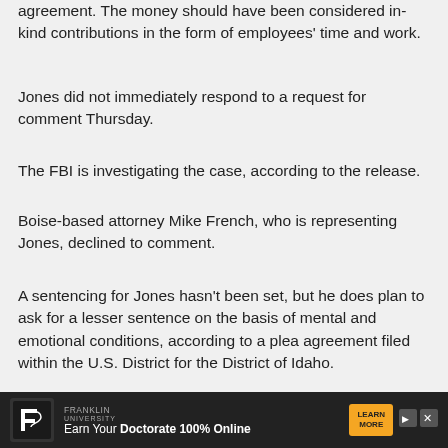agreement. The money should have been considered in-kind contributions in the form of employees' time and work.
Jones did not immediately respond to a request for comment Thursday.
The FBI is investigating the case, according to the release.
Boise-based attorney Mike French, who is representing Jones, declined to comment.
A sentencing for Jones hasn't been set, but he does plan to ask for a lesser sentence on the basis of mental and emotional conditions, according to a plea agreement filed within the U.S. District for the District of Idaho.
SUBMIT A CORRECTION
Taboola Feed
[Figure (photo): Photo of a lightbulb being held, partially visible at bottom of page]
[Figure (other): Advertisement banner: Franklin University - Earn Your Doctorate 100% Online]